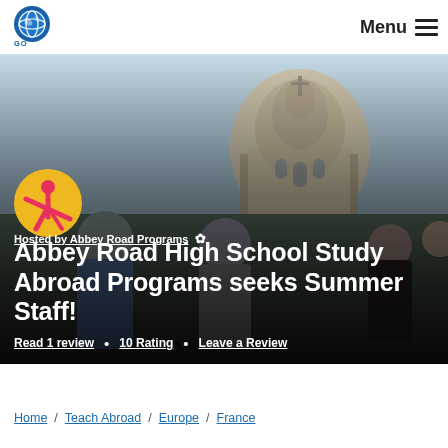GO OVERSEAS   Menu
[Figure (photo): Hero photo of students and a guide in front of a European cathedral/church building (Frauenkirche, Dresden), with a group of people in the foreground. Overlaid with program logo (yellow circle with red figure), hosted-by text, main title, and review bar.]
Abbey Road High School Study Abroad Programs seeks Summer Staff!
Hosted by Abbey Road Programs
Read 1 review  •  10 Rating  •  Leave a Review
Home / Teach Abroad / Europe / France